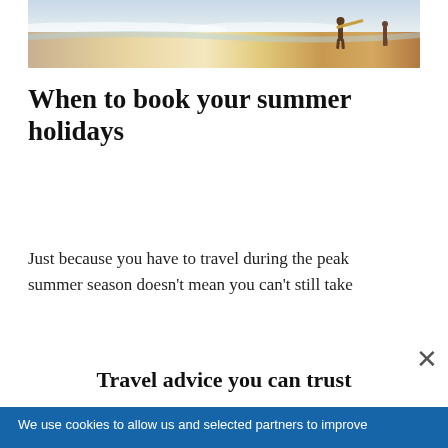[Figure (photo): Beach scene with a person carrying a surfboard walking along sun-lit shoreline with waves in the background]
When to book your summer holidays
Just because you have to travel during the peak summer season doesn't mean you can't still take
×
Travel advice you can trust
We use cookies to allow us and selected partners to improve your experience and our advertising. By continuing to browse you consent to our use of cookies. You can understand more and change your cookies preferences here.
OK